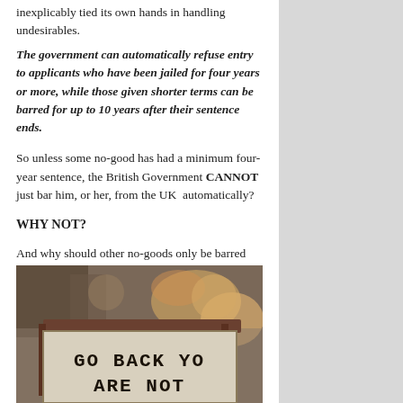inexplicably tied its own hands in handling undesirables.
The government can automatically refuse entry to applicants who have been jailed for four years or more, while those given shorter terms can be barred for up to 10 years after their sentence ends.
So unless some no-good has had a minimum four-year sentence, the British Government CANNOT just bar him, or her, from the UK automatically?
WHY NOT?
And why should other no-goods only be barred for 'up to 10 years?'
[Figure (photo): Photo of a graffiti-covered wall with a handmade sign reading 'GO BACK YO ARE NOT' in bold stencil letters]